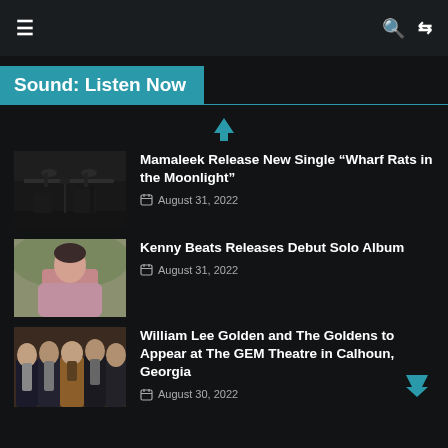≡   🔍 ⇌
Sound: Listen Now
[Figure (illustration): Teal upward arrow navigation icon]
[Figure (photo): Black and white photo of a music recording studio with instruments and dim lighting]
Mamaleek Release New Single “Wharf Rats in the Moonlight”
August 31, 2022
[Figure (photo): Photo of a man in a pink/mauve top sitting outdoors with plants in the background]
Kenny Beats Releases Debut Solo Album
August 31, 2022
[Figure (photo): Group photo of William Lee Golden and The Goldens, four men with long beards in dark and brown clothing]
William Lee Golden and The Goldens to Appear at The GEM Theatre in Calhoun, Georgia
August 30, 2022
[Figure (illustration): Teal downward chevron/arrow navigation icon]